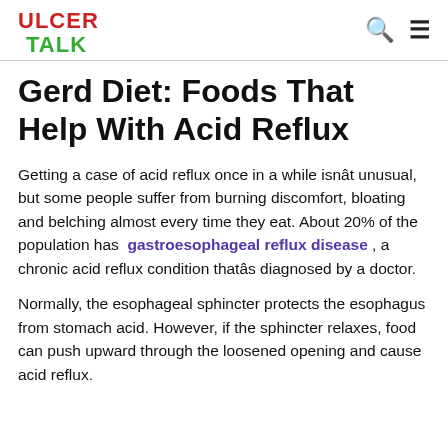ULCER TALK
Gerd Diet: Foods That Help With Acid Reflux
Getting a case of acid reflux once in a while isnât unusual, but some people suffer from burning discomfort, bloating and belching almost every time they eat. About 20% of the population has gastroesophageal reflux disease , a chronic acid reflux condition thatâs diagnosed by a doctor.
Normally, the esophageal sphincter protects the esophagus from stomach acid. However, if the sphincter relaxes, food can push upward through the loosened opening and cause acid reflux.